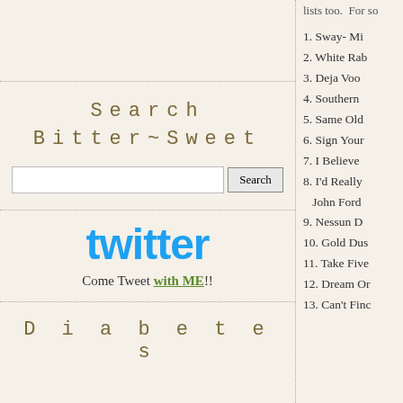lists too.  For so
Search Bitter~Sweet
Come Tweet with ME!!
Diabetes
1. Sway- Mi
2. White Rab
3. Deja Voo
4. Southern
5. Same Old
6. Sign Your
7. I Believe
8. I'd Really
   John Ford
9. Nessun D
10. Gold Dus
11. Take Five
12. Dream Or
13. Can't Finc